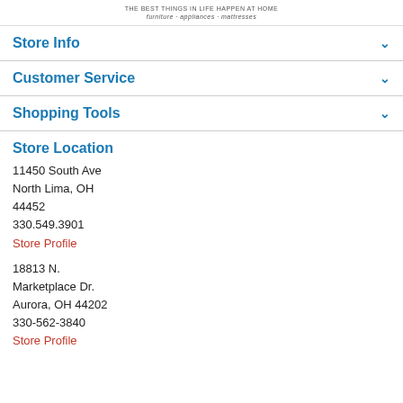THE BEST THINGS IN LIFE HAPPEN AT HOME
furniture · appliances · mattresses
Store Info
Customer Service
Shopping Tools
Store Location
11450 South Ave
North Lima, OH
44452
330.549.3901
Store Profile
18813 N.
Marketplace Dr.
Aurora, OH 44202
330-562-3840
Store Profile